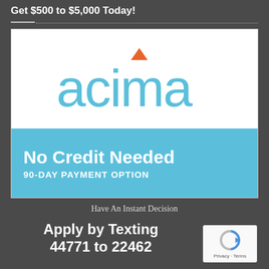Get $500 to $5,000 Today!
[Figure (logo): Acima logo with orange triangle accent above the letter i, text in light blue, with 'No Credit Needed' and '90-DAY PAYMENT OPTION' on a light blue background banner]
Have An Instant Decision
Apply by Texting
44771 to 22462
[Figure (logo): reCAPTCHA logo with circular arrows icon and 'Privacy - Terms' text below]